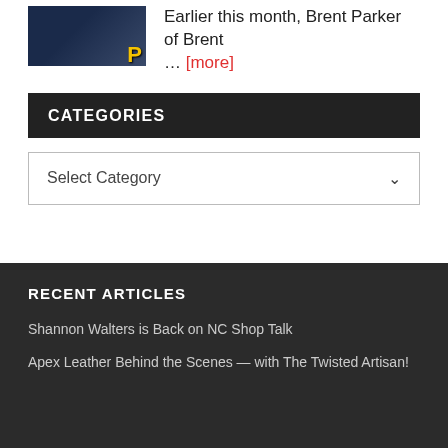Earlier this month, Brent Parker of Brent … [more]
CATEGORIES
Select Category
RECENT ARTICLES
Shannon Walters is Back on NC Shop Talk
Apex Leather Behind the Scenes — with The Twisted Artisan!